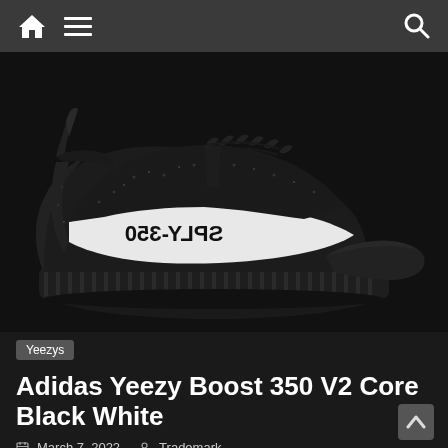Navigation bar with home, menu, and search icons
[Figure (photo): Adidas Yeezy Boost 350 V2 Core Black White sneaker shown from the side profile. Black knit upper with white stripe stripe reading SPLY-350 in mirrored/reversed text. Black Boost sole.]
Yeezys
Adidas Yeezy Boost 350 V2 Core Black White
March 7, 2022   Trademark
Adidas Yeezy Boost 350 V2 Core Black White Sneaker Info